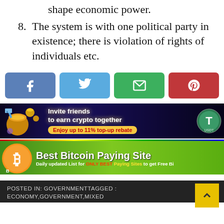shape economic power.
8. The system is with one political party in existence; there is violation of rights of individuals etc.
[Figure (infographic): Social media share buttons row: Facebook (blue), Twitter (light blue), Email (green), Pinterest (red)]
[Figure (infographic): Advertisement banner: Invite friends to earn crypto together. Enjoy up to 11% top-up rebate. Dark background with coins.]
[Figure (infographic): Advertisement banner: Best Bitcoin Paying Sites. Daily updated List for ONLY BEST Paying Sites to get Free Bitcoin. Green gradient background with Bitcoin logo.]
POSTED IN: GOVERNMENTTAGGED : ECONOMY,GOVERNMENT,MIXED